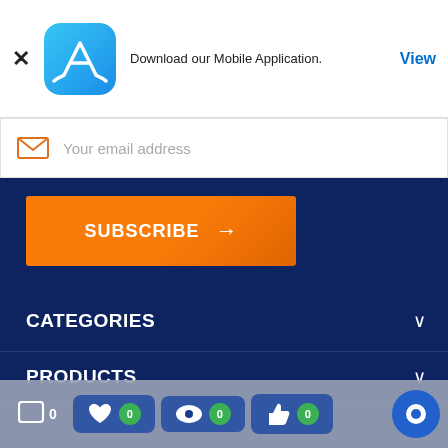[Figure (screenshot): App Store icon with gradient blue background and white 'A' tool symbol]
Download our Mobile Application.
View
Your email address
SUBSCRIBE →
CATEGORIES
PRODUCTS
OUR COMPANY
YOUR ACCOUNT
STORE INFORMATION